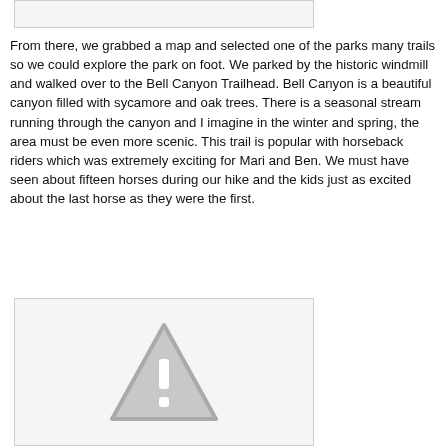[Figure (other): Top image placeholder box (gray border, light background)]
From there, we grabbed a map and selected one of the parks many trails so we could explore the park on foot. We parked by the historic windmill and walked over to the Bell Canyon Trailhead. Bell Canyon is a beautiful canyon filled with sycamore and oak trees. There is a seasonal stream running through the canyon and I imagine in the winter and spring, the area must be even more scenic. This trail is popular with horseback riders which was extremely exciting for Mari and Ben. We must have seen about fifteen horses during our hike and the kids just as excited about the last horse as they were the first.
[Figure (other): Warning triangle icon (gray) — image placeholder box with caution symbol]